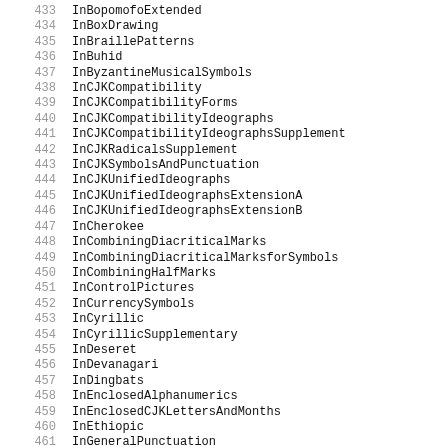433  InBopomofoExtended
434  InBoxDrawing
435  InBraillePatterns
436  InBuhid
437  InByzantineMusicalSymbols
438  InCJKCompatibility
439  InCJKCompatibilityForms
440  InCJKCompatibilityIdeographs
441  InCJKCompatibilityIdeographsSupplement
442  InCJKRadicalsSupplement
443  InCJKSymbolsAndPunctuation
444  InCJKUnifiedIdeographs
445  InCJKUnifiedIdeographsExtensionA
446  InCJKUnifiedIdeographsExtensionB
447  InCherokee
448  InCombiningDiacriticalMarks
449  InCombiningDiacriticalMarksforSymbols
450  InCombiningHalfMarks
451  InControlPictures
452  InCurrencySymbols
453  InCyrillic
454  InCyrillicSupplementary
455  InDeseret
456  InDevanagari
457  InDingbats
458  InEnclosedAlphanumerics
459  InEnclosedCJKLettersAndMonths
460  InEthiopic
461  InGeneralPunctuation
462  InGeometricShapes
463  InGeorgian
464  InGothic
465  InGreekExtended